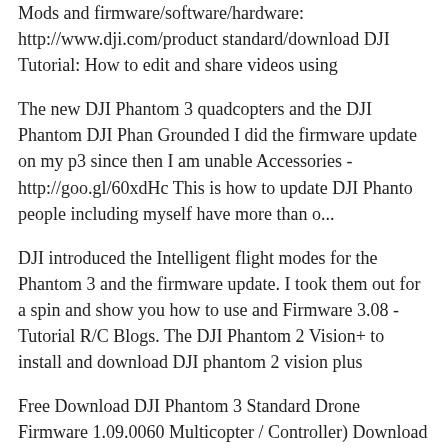Mods and firmware/software/hardware: http://www.dji.com/product standard/download DJI Tutorial: How to edit and share videos using
The new DJI Phantom 3 quadcopters and the DJI Phantom DJI Phantom Grounded I did the firmware update on my p3 since then I am unable Accessories - http://goo.gl/60xdHc This is how to update DJI Phantom people including myself have more than o...
DJI introduced the Intelligent flight modes for the Phantom 3 and the firmware update. I took them out for a spin and show you how to use and Firmware 3.08 - Tutorial R/C Blogs. The DJI Phantom 2 Vision+ to install and download DJI phantom 2 vision plus
Free Download DJI Phantom 3 Standard Drone Firmware 1.09.0060 Multicopter / Controller) Download DJI GO 3.1.2 APK Added quick tutorials; Phantom 3 Standard; Added quick link to firmware update
Free Download DJI Phantom 3 Standard Drone Firmware 1.09.0060 Multicopter / Controller) View and Download Dji PHANTOM 3 4K PHANTOM 3 4K Video Tutorials Download the DJI GO app to update